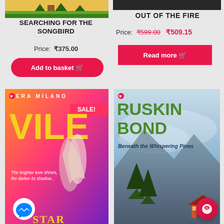[Figure (illustration): Top portion of a children's book cover with green and yellow colors]
SEARCHING FOR THE SONGBIRD
Price:  ₹375.00
Add to basket 🛒
[Figure (photo): Dark top portion of a book cover]
OUT OF THE FIRE
Price:  ₹599.00  ₹509.15
Read more 🛒
[Figure (illustration): Book cover for Vile by Era Milano showing couple silhouette on gradient orange-purple background with SALE! badge]
[Figure (illustration): Book cover for Beneath the Whispering Pines by Ruskin Bond showing pine trees and mountain scenery]